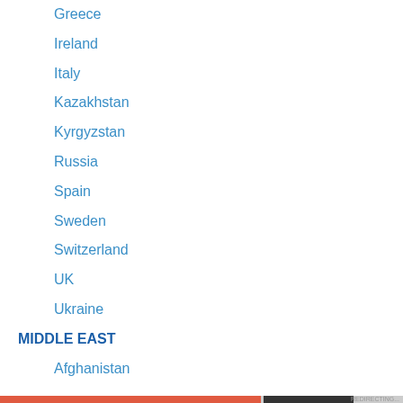Greece
Ireland
Italy
Kazakhstan
Kyrgyzstan
Russia
Spain
Sweden
Switzerland
UK
Ukraine
MIDDLE EAST
Afghanistan
Privacy & Cookies: This site uses cookies. By continuing to use this website, you agree to their use.
To find out more, including how to control cookies, see here: Cookie Policy
Close and accept